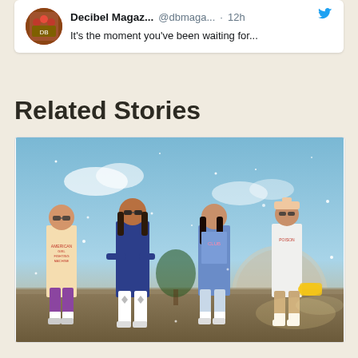[Figure (screenshot): Tweet from Decibel Magazine (@dbmaga...) posted 12h ago, with text beginning 'It's the moment you've been waiting for...'. Shows Twitter bird icon, avatar image of band members.]
Related Stories
[Figure (photo): Photo of four young people wearing 80s-style clothing (tank tops, shorts, high socks, sneakers) standing outdoors against a blue sky with sparkle/star overlay effects. They appear to be posing like a band.]